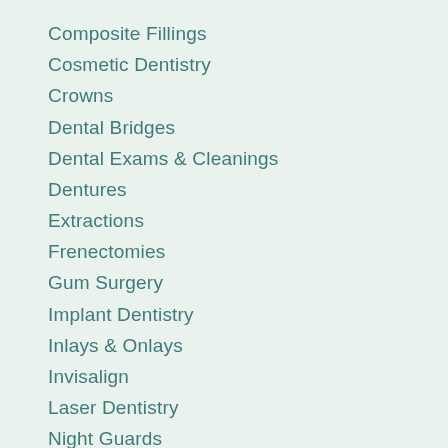Composite Fillings
Cosmetic Dentistry
Crowns
Dental Bridges
Dental Exams & Cleanings
Dentures
Extractions
Frenectomies
Gum Surgery
Implant Dentistry
Inlays & Onlays
Invisalign
Laser Dentistry
Night Guards
Retainers